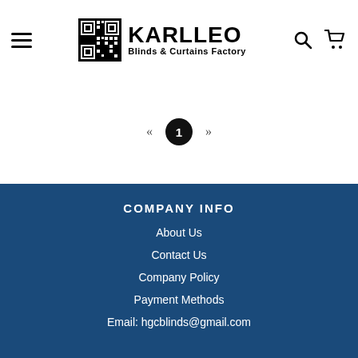KARLLEO Blinds & Curtains Factory
« 1 »
COMPANY INFO
About Us
Contact Us
Company Policy
Payment Methods
Email: hgcblinds@gmail.com